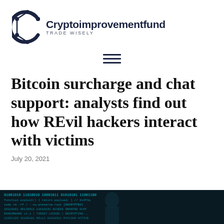[Figure (logo): Cryptoimprovementfund logo: stylized C with circuit nodes, bold dark navy text 'Cryptoimprovementfund', tagline 'TRADE WISELY']
[Figure (other): Hamburger menu icon — three horizontal lines centered on page]
Bitcoin surcharge and chat support: analysts find out how REvil hackers interact with victims
July 20, 2021
[Figure (photo): Dark hacker-themed image showing a silhouette of a person at a computer with cyan/teal code text visible]